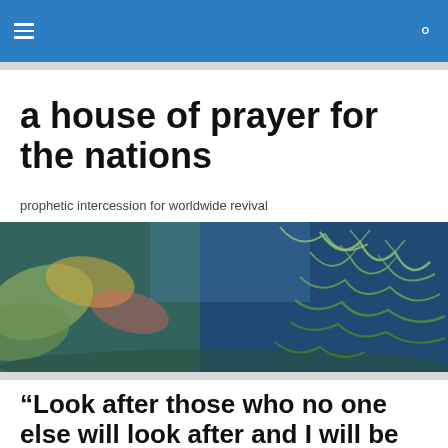a house of prayer for the nations
a house of prayer for the nations
prophetic intercession for worldwide revival
[Figure (photo): Close-up photo of lush ferns and green foliage with blue tones in a forest or garden setting]
“Look after those who no one else will look after and I will be with you forever”…